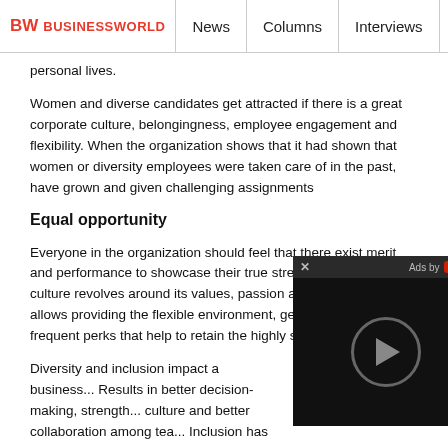BW BUSINESSWORLD | News | Columns | Interviews | BW
personal lives.
Women and diverse candidates get attracted if there is a great corporate culture, belongingness, employee engagement and flexibility. When the organization shows that it had shown that women or diversity employees were taken care of in the past, have grown and given challenging assignments
Equal opportunity
Everyone in the organization should feel that there exist merit and performance to showcase their true strengths. The company culture revolves around its values, passion and culture which allows providing the flexible environment, generous benefits and frequent perks that help to retain the highly skilled employees
Diversity and inclusion impact a business... Results in better decision-making, strength... culture and better collaboration among tea... Inclusion has to become a social respons...
Disclaimer: The views expressed in the article above are those